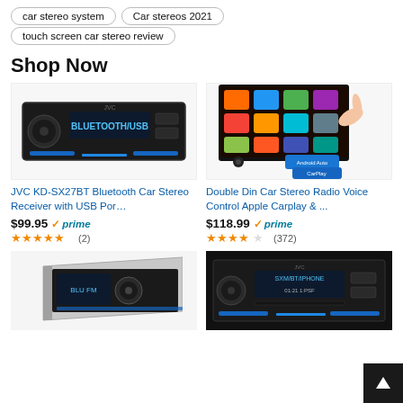car stereo system
Car stereos 2021
touch screen car stereo review
Shop Now
[Figure (photo): JVC KD-SX27BT Bluetooth car stereo receiver product photo showing blue illuminated front panel with BLUETOOTH/USB display]
JVC KD-SX27BT Bluetooth Car Stereo Receiver with USB Por…
$99.95 ✓prime
★★★★★ (2)
[Figure (photo): Double Din car stereo touch screen showing colorful app icons including Apple CarPlay and Android Auto, with a hand touching the screen]
Double Din Car Stereo Radio Voice Control Apple Carplay & ...
$118.99 ✓prime
★★★★☆ (372)
[Figure (photo): Car stereo receiver shown at an angle with blue illuminated display]
[Figure (photo): JVC car stereo receiver with SXM/BT/IPHONE display and blue illumination]